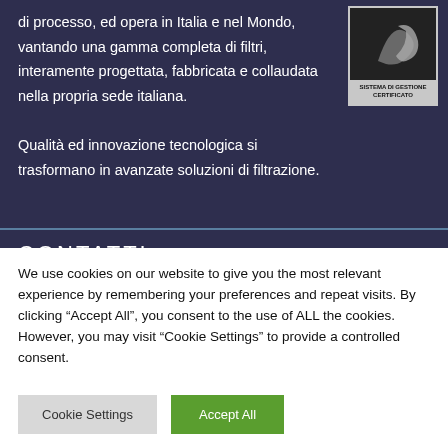di processo, ed opera in Italia e nel Mondo, vantando una gamma completa di filtri, interamente progettata, fabbricata e collaudata nella propria sede italiana. Qualità ed innovazione tecnologica si trasformano in avanzate soluzioni di filtrazione.
[Figure (logo): Certification badge with logo and text SISTEMA DI GESTIONE CERTIFICATO]
CONTATTI
We use cookies on our website to give you the most relevant experience by remembering your preferences and repeat visits. By clicking “Accept All”, you consent to the use of ALL the cookies. However, you may visit "Cookie Settings" to provide a controlled consent.